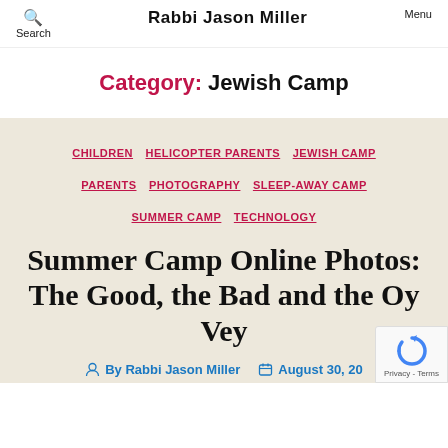Search | Rabbi Jason Miller | Menu
Category: Jewish Camp
CHILDREN  HELICOPTER PARENTS  JEWISH CAMP  PARENTS  PHOTOGRAPHY  SLEEP-AWAY CAMP  SUMMER CAMP  TECHNOLOGY
Summer Camp Online Photos: The Good, the Bad and the Oy Vey
By Rabbi Jason Miller   August 30, 2...